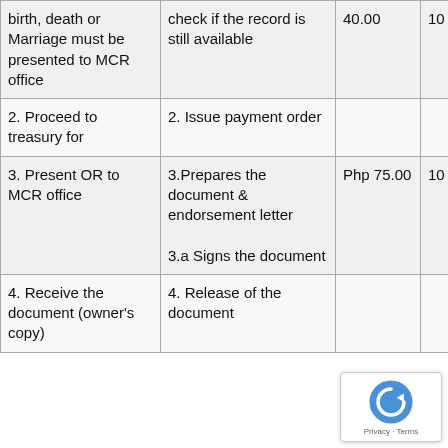| Client Steps | Agency Actions | Fees | Processing Time | Person Responsible |
| --- | --- | --- | --- | --- |
| birth, death or Marriage must be presented to MCR office | check if the record is still available | 40.00 | 10 minutes | Val... |
| 2. Proceed to treasury for | 2. Issue payment order |  |  | MTC... |
| 3. Present OR to MCR office | 3.Prepares the document & endorsement letter

3.a Signs the document | Php 75.00 | 10 minutes | Juv...
Vall...

Jocely...
Ro... |
| 4. Receive the document (owner's copy) | 4. Release of the document |  |  |  |